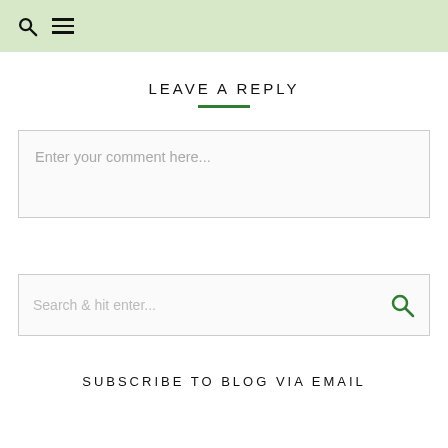LEAVE A REPLY
Enter your comment here...
Search & hit enter...
SUBSCRIBE TO BLOG VIA EMAIL